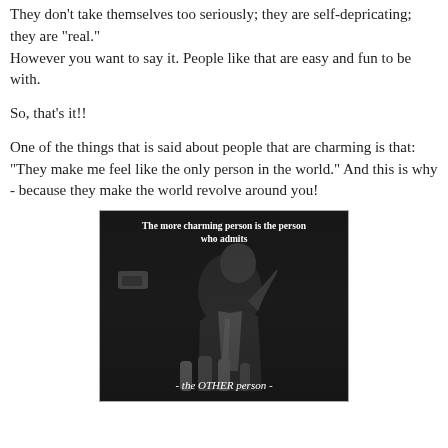They don't take themselves too seriously; they are self-deprecating; they are "real."
However you want to say it.  People like that are easy and fun to be with.
So, that's it!!
One of the things that is said about people that are charming is that: "They make me feel like the only person in the world."  And this is why - because they make the world revolve around you!
[Figure (photo): Black and white photo of a man in a suit holding his finger to his lips, surrounded by microphones. Text overlay reads: 'The more charming person is the person who admits' at the top and '- the OTHER person -' at the bottom.]